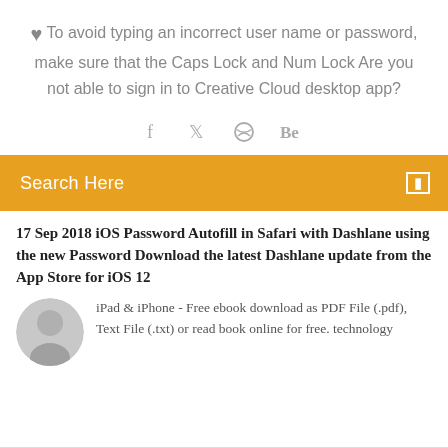♥ To avoid typing an incorrect user name or password, make sure that the Caps Lock and Num Lock Are you not able to sign in to Creative Cloud desktop app?
[Figure (other): Social media icons: Facebook (f), Twitter (bird), Dribbble (circle with lines), Behance (Be)]
Search Here
17 Sep 2018 iOS Password Autofill in Safari with Dashlane using the new Password Download the latest Dashlane update from the App Store for iOS 12
[Figure (photo): Circular avatar photo of a man]
iPad & iPhone - Free ebook download as PDF File (.pdf), Text File (.txt) or read book online for free. technology